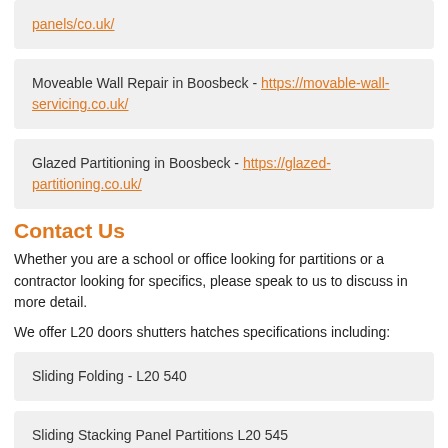panels/co.uk/
Moveable Wall Repair in Boosbeck - https://movable-wall-servicing.co.uk/
Glazed Partitioning in Boosbeck - https://glazed-partitioning.co.uk/
Contact Us
Whether you are a school or office looking for partitions or a contractor looking for specifics, please speak to us to discuss in more detail.
We offer L20 doors shutters hatches specifications including:
Sliding Folding - L20 540
Sliding Stacking Panel Partitions L20 545
If you are interested in finding out more regarding our wide choice